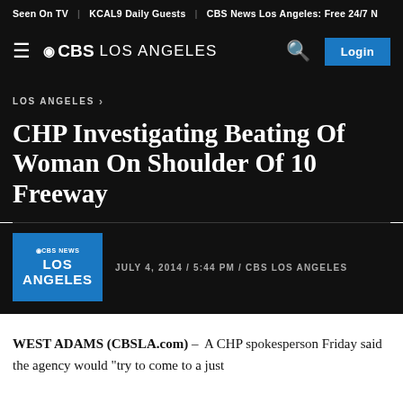Seen On TV | KCAL9 Daily Guests | CBS News Los Angeles: Free 24/7 N
≡ ◉CBS LOS ANGELES   🔍  Login
LOS ANGELES ›
CHP Investigating Beating Of Woman On Shoulder Of 10 Freeway
JULY 4, 2014 / 5:44 PM / CBS LOS ANGELES
WEST ADAMS (CBSLA.com) –  A CHP spokesperson Friday said the agency would "try to come to a just